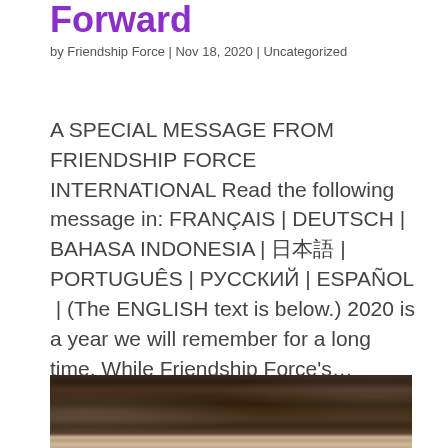Forward
by Friendship Force | Nov 18, 2020 | Uncategorized
A SPECIAL MESSAGE FROM FRIENDSHIP FORCE INTERNATIONAL Read the following message in: FRANÇAIS | DEUTSCH | BAHASA INDONESIA | 日本語 | PORTUGUÊS | РУССКИЙ | ESPAÑOL | (The ENGLISH text is below.) 2020 is a year we will remember for a long time. While Friendship Force's…
[Figure (photo): Dark outdoor photo, appears to show trees or a crowd, with lighter ground visible at the bottom]